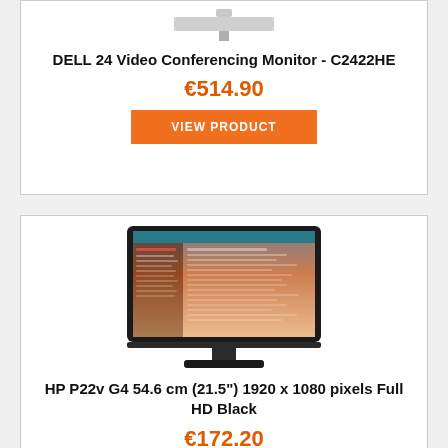[Figure (photo): Top portion of a Dell monitor stand/base, partially cropped at top of card]
DELL 24 Video Conferencing Monitor - C2422HE
€514.90
VIEW PRODUCT
[Figure (photo): HP P22v G4 monitor displaying a software application interface with orange/pink gradient screen content, black bezel and stand]
HP P22v G4 54.6 cm (21.5") 1920 x 1080 pixels Full HD Black
€172.20